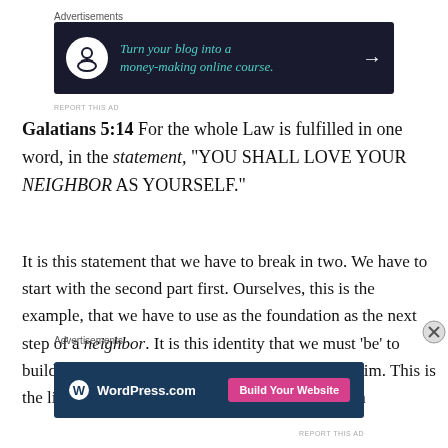Advertisements
[Figure (other): Advertisement banner: dark navy background with circular white icon showing a tree/person silhouette, teal italic text 'Turn your blog into a money-making online course.' with a white arrow on the right]
REPORT THIS AD
Galatians 5:14 For the whole Law is fulfilled in one word, in the statement, “YOU SHALL LOVE YOUR NEIGHBOR AS YOURSELF.”
It is this statement that we have to break in two. We have to start with the second part first. Ourselves, this is the example, that we have to use as the foundation as the next step of a neighbor. It is this identity that we must ‘be’ to build on the reality of God. God in us, and us in Him. This is the light that must be seen from every hill on earth
Advertisements
[Figure (other): WordPress.com advertisement banner: dark navy blue background with WordPress logo and text 'WordPress.com', pink 'Build Your Website' button on the right]
REPORT THIS AD